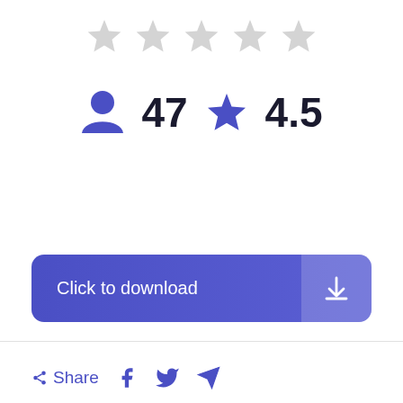[Figure (other): Five empty/unfilled rating stars in light gray]
47 reviews, 4.5 star rating
[Figure (other): Click to download button with download icon]
Share (Facebook, Twitter, Telegram icons)